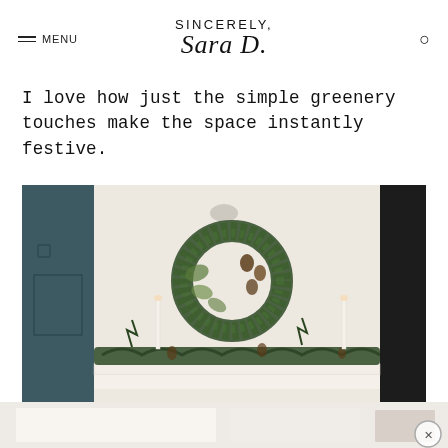SINCERELY, Sara D. — MENU (navigation) and search icon
I love how just the simple greenery touches make the space instantly festive.
[Figure (photo): Interior room photo showing a white fireplace mantel decorated with pine garland and pinecones, two white taper candles, and a natural green wreath with pinecones hanging on the wall above. A teal/dark blue door is visible on the left and a dark doorframe on the right. Neutral cream-colored walls.]